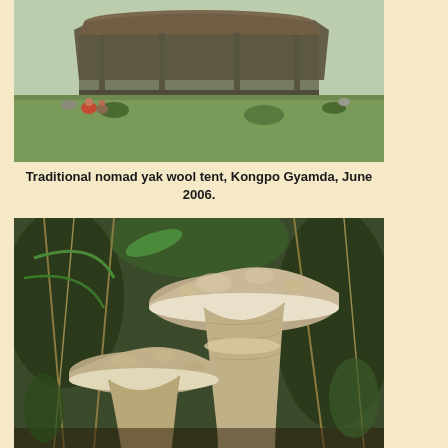[Figure (photo): Traditional nomad yak wool tent in a grassy field, Kongpo Gyamda, June 2006. A dark tent structure on stilts in a green landscape.]
Traditional nomad yak wool tent, Kongpo Gyamda, June 2006.
[Figure (photo): Two large mushrooms growing in a natural outdoor setting among dried grass and green vegetation. The mushrooms have broad flat caps with a textured surface.]